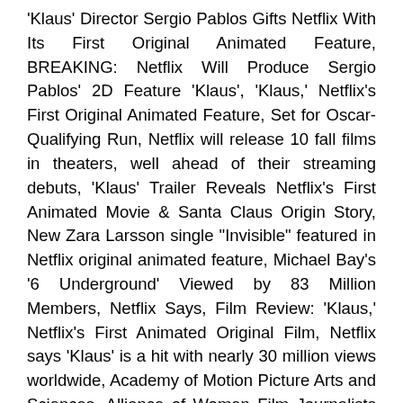'Klaus' Director Sergio Pablos Gifts Netflix With Its First Original Animated Feature, BREAKING: Netflix Will Produce Sergio Pablos' 2D Feature 'Klaus', 'Klaus,' Netflix's First Original Animated Feature, Set for Oscar-Qualifying Run, Netflix will release 10 fall films in theaters, well ahead of their streaming debuts, 'Klaus' Trailer Reveals Netflix's First Animated Movie & Santa Claus Origin Story, New Zara Larsson single "Invisible" featured in Netflix original animated feature, Michael Bay's '6 Underground' Viewed by 83 Million Members, Netflix Says, Film Review: 'Klaus,' Netflix's First Animated Original Film, Netflix says 'Klaus' is a hit with nearly 30 million views worldwide, Academy of Motion Picture Arts and Sciences, Alliance of Women Film Journalists 2019 Nominees Announced: 'The Irishman', 'Marriage Story', and 'Once Upon A Time' Lead • AwardsCircuit | Entertainment, Predictions, Reviews, 'Parasite,' 'Uncut Gems' & 'The Irishman' Among Austin Film Critics Association Nominations • AwardsCircuit | Entertainment, Predictions, Reviews, Detroit Film Critics Society names 'Parasite,'